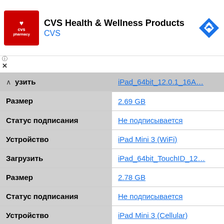[Figure (other): CVS Pharmacy ad banner with red logo, 'CVS Health & Wellness Products' title, 'CVS' subtitle in blue, and blue diamond navigation arrow icon]
| узить | iPad_64bit_12.0.1_16A… |
| Размер | 2.69 GB |
| Статус подписания | Не подписывается |
| Устройство | iPad Mini 3 (WiFi) |
| Загрузить | iPad_64bit_TouchID_12… |
| Размер | 2.78 GB |
| Статус подписания | Не подписывается |
| Устройство | iPad Mini 3 (Cellular) |
| Загрузить | iPad_64bit_TouchID_12… |
| Размер | 2.78 GB |